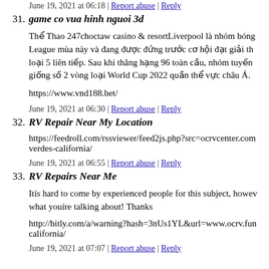June 19, 2021 at 06:18 | Report abuse | Reply
31. game co vua hinh nguoi 3d
Thể Thao 247choctaw casino & resortLiverpool là nhóm bóng League mùa này và đang được đứng trước cơ hội đạt giải th loại 5 liên tiếp. Sau khi thăng hạng 96 toàn cầu, nhóm tuyến giống số 2 vòng loại World Cup 2022 quần thể vực châu Á.
https://www.vnd188.bet/
June 19, 2021 at 06:30 | Report abuse | Reply
32. RV Repair Near My Location
https://feedroll.com/rssviewer/feed2js.php?src=ocrvcenter.com verdes-california/
June 19, 2021 at 06:55 | Report abuse | Reply
33. RV Repairs Near Me
Itís hard to come by experienced people for this subject, howev what youíre talking about! Thanks
http://bitly.com/a/warning?hash=3nUs1YL&url=www.ocrv.fun california/
June 19, 2021 at 07:07 | Report abuse | Reply